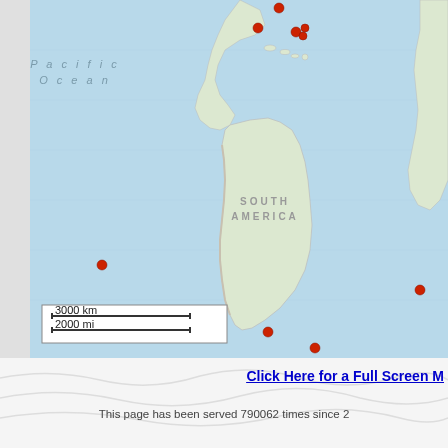[Figure (map): World map (South America and Pacific Ocean region) showing earthquake or event locations marked with red dots. Red dots are clustered near the Caribbean/Central America, and scattered in the South Atlantic and South Pacific oceans. A scale bar shows 3000 km / 2000 mi.]
Click Here for a Full Screen M...
This page has been served 790062 times since 2...